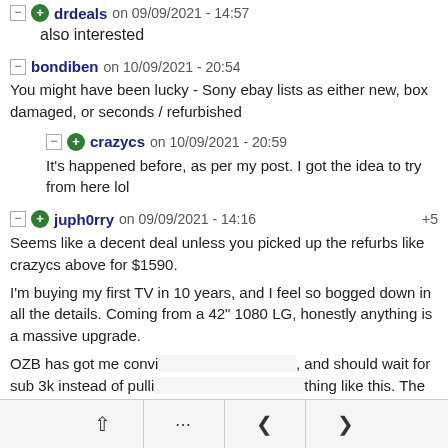drdeals on 09/09/2021 - 14:57
also interested
bondiben on 10/09/2021 - 20:54
You might have been lucky - Sony ebay lists as either new, box damaged, or seconds / refurbished
crazycs on 10/09/2021 - 20:59
It's happened before, as per my post. I got the idea to try from here lol
juph0rry on 09/09/2021 - 14:16 +5
Seems like a decent deal unless you picked up the refurbs like crazycs above for $1590.
I'm buying my first TV in 10 years, and I feel so bogged down in all the details. Coming from a 42" 1080 LG, honestly anything is a massive upgrade.
OZB has got me convinced I should get C1, and should wait for sub 3k instead of pulling the trigger on something like this. The